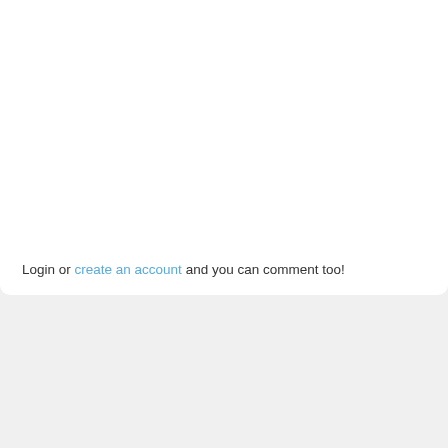Login or create an account and you can comment too!
Created Initiatives
[Figure (photo): Photograph of residential buildings with brick architecture under a blue sky with autumn trees]